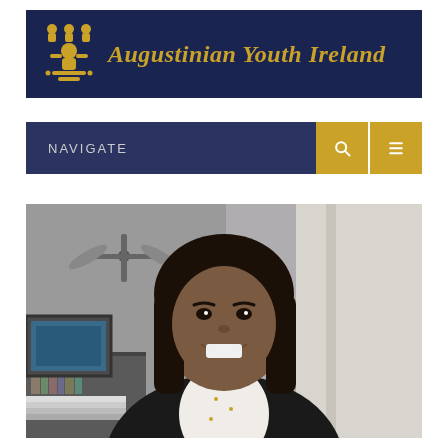[Figure (logo): Augustinian Youth Ireland organization logo banner with dark navy background, gold Augustinian emblem on the left, and organization name in gold italic serif font on the right]
[Figure (other): Navigation bar with dark navy background, 'NAVIGATE' text in light grey on the left, and two gold square buttons with white icons (search and menu) on the right]
[Figure (photo): Screenshot/video call photo of a young woman with long dark hair, wearing a black blazer over a white top with small pattern, smiling at camera. Background shows a ceiling fan and a bookshelf with a framed picture.]